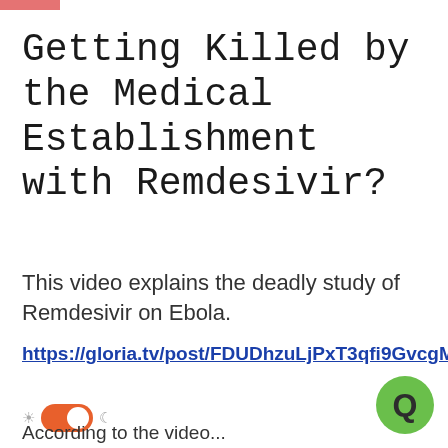Getting Killed by the Medical Establishment with Remdesivir?
This video explains the deadly study of Remdesivir on Ebola.
https://gloria.tv/post/FDUDhzuLjPxT3qfi9GvcgMhPA
According to the video...